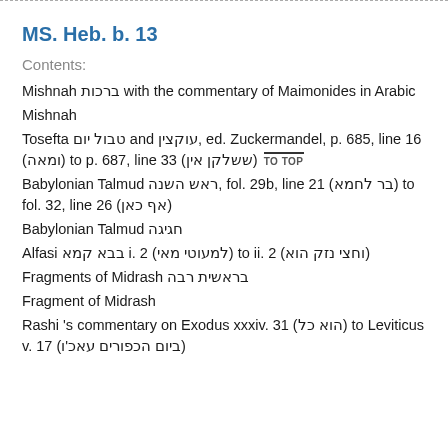MS. Heb. b. 13
Contents:
Mishnah ברכות with the commentary of Maimonides in Arabic
Mishnah
Tosefta טבול יום and עוקצין, ed. Zuckermandel, p. 685, line 16 (ומאה) to p. 687, line 33 (ששלקן אין) TO TOP
Babylonian Talmud ראש השנה, fol. 29b, line 21 (בר לחמא) to fol. 32, line 26 (אף כאן)
Babylonian Talmud חגיגה
Alfasi בבא קמא i. 2 (למעוטי מאי) to ii. 2 (וחצי נזק הוא)
Fragments of Midrash בראשית רבה
Fragment of Midrash
Rashi 's commentary on Exodus xxxiv. 31 (הוא כל) to Leviticus v. 17 (ביום הכפורים עאכ'ו)